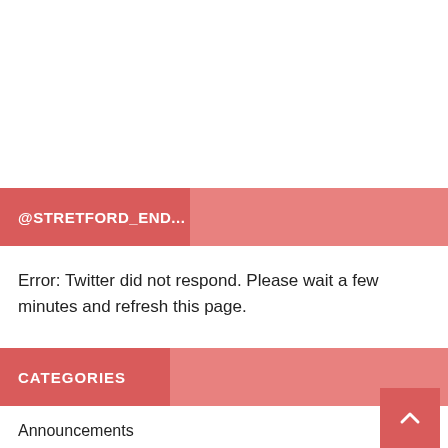@STRETFORD_END...
Error: Twitter did not respond. Please wait a few minutes and refresh this page.
CATEGORIES
Announcements
Arsenal
Aston Villa